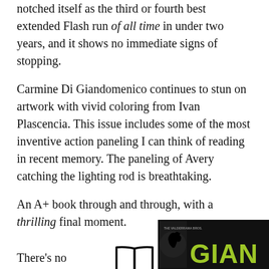notched itself as the third or fourth best extended Flash run of all time in under two years, and it shows no immediate signs of stopping.
Carmine Di Giandomenico continues to stun on artwork with vivid coloring from Ivan Plascencia. This issue includes some of the most inventive action paneling I can think of reading in recent memory. The paneling of Avery catching the lighting rod is breathtaking.
An A+ book through and through, with a thrilling final moment.
[Figure (illustration): Open book icon, black outline on white background]
Best Small-Pub Issue of the Week: Giants (2018) #3, Dark Horse Comics
There's no...
[Figure (photo): Comic book cover for Giants (2018) #3, Dark Horse Comics, by The Valderrama Bros. Dark background with large stylized yellow-green text GIANT]